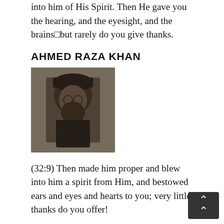into him of His Spirit. Then He gave you the hearing, and the eyesight, and the brainsÿbut rarely do you give thanks.
AHMED RAZA KHAN
[Figure (photo): Black and white portrait photo of Ahmed Raza Khan, an elderly bearded man wearing glasses and a dark turban.]
(32:9) Then made him proper and blew into him a spirit from Him, and bestowed ears and eyes and hearts to you; very little thanks do you offer!
WAHIDUDDIN KHAN
[Figure (photo): Color portrait photo of Wahiduddin Khan, an elderly bearded man wearing glasses and a white turban.]